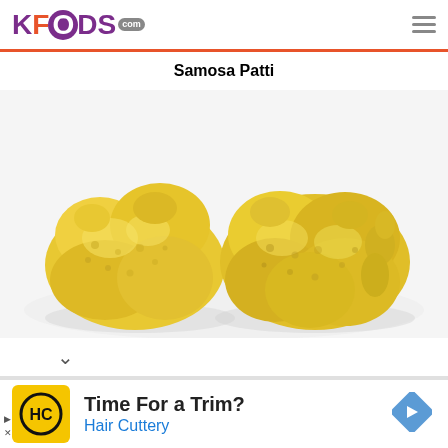KFOODS.com
Samosa Patti
[Figure (photo): Two golden-yellow fried samosa patti (dough puffs) on a white background]
Time For a Trim? Hair Cuttery